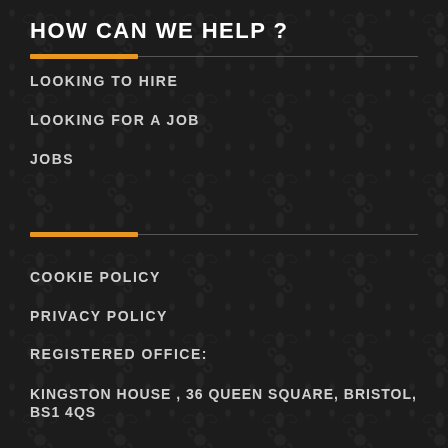HOW CAN WE HELP ?
LOOKING TO HIRE
LOOKING FOR A JOB
JOBS
COOKIE POLICY
PRIVACY POLICY
REGISTERED OFFICE:
KINGSTON HOUSE , 36 QUEEN SQUARE, BRISTOL, BS1 4QS